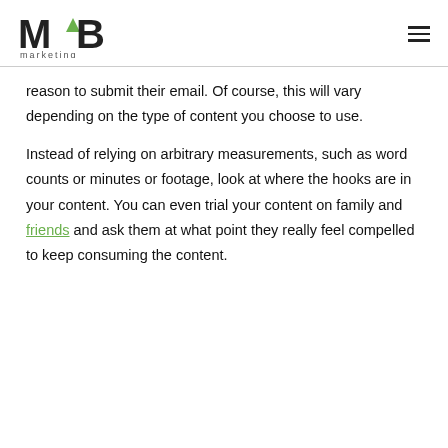MB marketing
reason to submit their email. Of course, this will vary depending on the type of content you choose to use.
Instead of relying on arbitrary measurements, such as word counts or minutes or footage, look at where the hooks are in your content. You can even trial your content on family and friends and ask them at what point they really feel compelled to keep consuming the content.